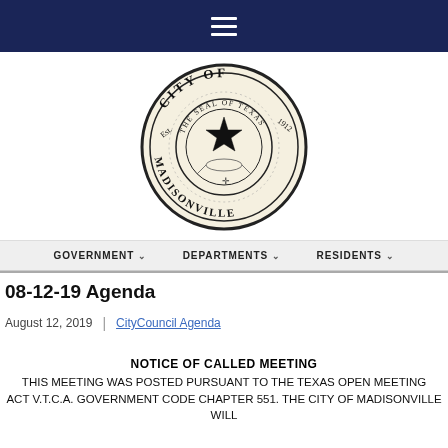Navigation bar with hamburger menu
[Figure (logo): City of Madisonville, Texas official seal. Circular seal with text 'CITY OF' at top, 'MADISONVILLE' at bottom, 'Est. 1912', 'THE SEAL OF TEXAS', central star with wreath design.]
GOVERNMENT  DEPARTMENTS  RESIDENTS
08-12-19 Agenda
August 12, 2019  |  City Council Agenda
NOTICE OF CALLED MEETING
THIS MEETING WAS POSTED PURSUANT TO THE TEXAS OPEN MEETING ACT V.T.C.A. GOVERNMENT CODE CHAPTER 551. THE CITY OF MADISONVILLE WILL